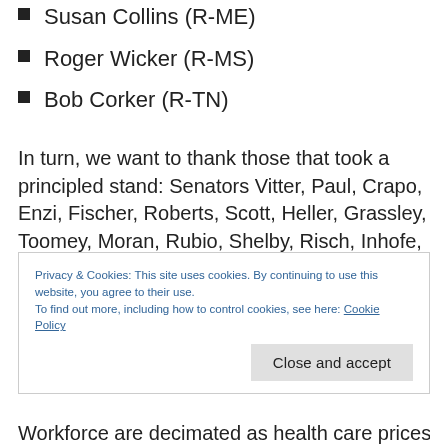Susan Collins (R-ME)
Roger Wicker (R-MS)
Bob Corker (R-TN)
In turn, we want to thank those that took a principled stand: Senators Vitter, Paul, Crapo, Enzi, Fischer, Roberts, Scott, Heller, Grassley, Toomey, Moran, Rubio, Shelby, Risch, Inhofe, Portman, and Sessions for standing with
Privacy & Cookies: This site uses cookies. By continuing to use this website, you agree to their use.
To find out more, including how to control cookies, see here: Cookie Policy
Workforce are decimated as health care prices rise